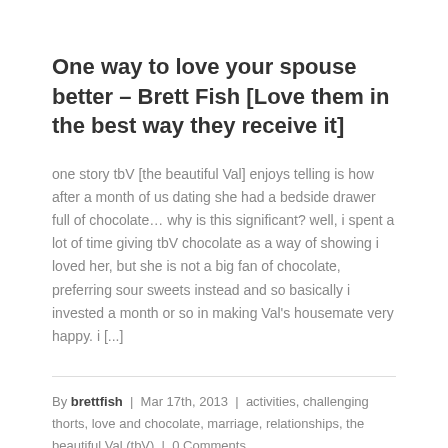One way to love your spouse better – Brett Fish [Love them in the best way they receive it]
one story tbV [the beautiful Val] enjoys telling is how after a month of us dating she had a bedside drawer full of chocolate… why is this significant? well, i spent a lot of time giving tbV chocolate as a way of showing i loved her, but she is not a big fan of chocolate, preferring sour sweets instead and so basically i invested a month or so in making Val's housemate very happy. i [...]
By brettfish | Mar 17th, 2013 | activities, challenging thorts, love and chocolate, marriage, relationships, the beautiful Val (tbV) | 0 Comments
Read More ›